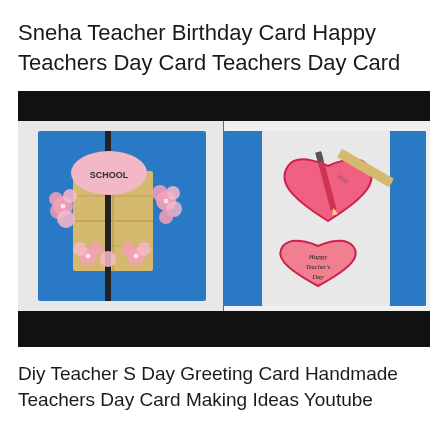Sneha Teacher Birthday Card Happy Teachers Day Card Teachers Day Card
[Figure (photo): Two handmade teacher's day cards side by side. Left card: blue card with a school building design, pink flowers, and a yellow grid pattern. Right card: open white/blue card with a pink heart shape containing a pencil and ruler, and another pink heart with 'Happy Teacher's Day' written on it. There is a black bar at the top and bottom of the image.]
Diy Teacher S Day Greeting Card Handmade Teachers Day Card Making Ideas Youtube